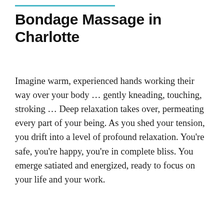Bondage Massage in Charlotte
Imagine warm, experienced hands working their way over your body … gently kneading, touching, stroking … Deep relaxation takes over, permeating every part of your being. As you shed your tension, you drift into a level of profound relaxation. You're safe, you're happy, you're in complete bliss. You emerge satiated and energized, ready to focus on your life and your work.